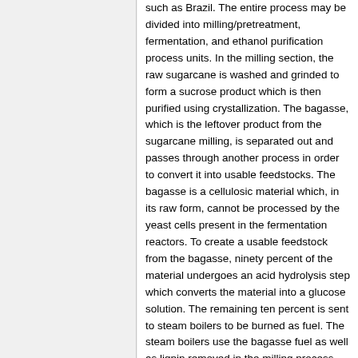such as Brazil. The entire process may be divided into milling/pretreatment, fermentation, and ethanol purification process units. In the milling section, the raw sugarcane is washed and grinded to form a sucrose product which is then purified using crystallization. The bagasse, which is the leftover product from the sugarcane milling, is separated out and passes through another process in order to convert it into usable feedstocks. The bagasse is a cellulosic material which, in its raw form, cannot be processed by the yeast cells present in the fermentation reactors. To create a usable feedstock from the bagasse, ninety percent of the material undergoes an acid hydrolysis step which converts the material into a glucose solution. The remaining ten percent is sent to steam boilers to be burned as fuel. The steam boilers use the bagasse fuel as well as lignin removed in the milling process and field trash that accompanies the sugar cane from the farmer, to generate enough